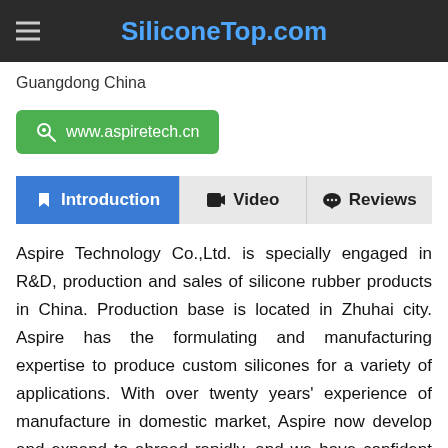SiliconeTop.com
Guangdong China
www.aspiretech.cn
Introduction | Video | Reviews
Aspire Technology Co.,Ltd. is specially engaged in R&D, production and sales of silicone rubber products in China. Production base is located in Zhuhai city. Aspire has the formulating and manufacturing expertise to produce custom silicones for a variety of applications. With over twenty years' experience of manufacture in domestic market, Aspire now develop and expand to abroad rapidly, and we have confident to satisfy requirements worldwide.